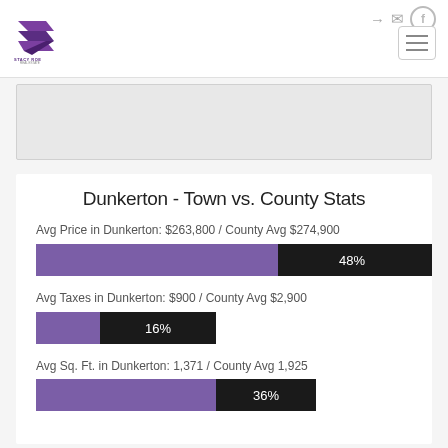[Figure (logo): Stacy Roe Real Estate logo - purple S shape icon with text below]
[Figure (other): Navigation header icons: sign-in, email, Facebook]
[Figure (other): Placeholder image or map area (gray box)]
Dunkerton - Town vs. County Stats
Avg Price in Dunkerton: $263,800 / County Avg $274,900
[Figure (bar-chart): Avg Price bar]
Avg Taxes in Dunkerton: $900 / County Avg $2,900
[Figure (bar-chart): Avg Taxes bar]
Avg Sq. Ft. in Dunkerton: 1,371 / County Avg 1,925
[Figure (bar-chart): Avg Sq Ft bar]